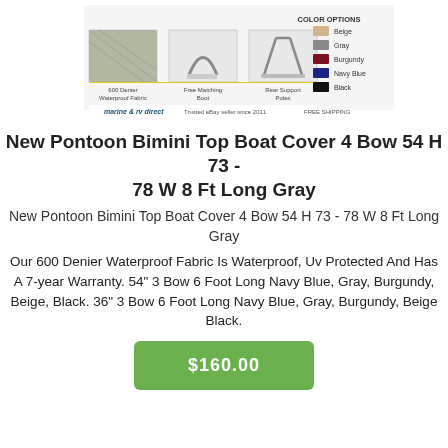[Figure (photo): Product image showing Pontoon Bimini Top Boat Cover with fabric swatch, matching boot, rear support poles, color options (Beige, Gray, Burgundy, Navy Blue, Black), and Marine & RV Direct branding with free shipping logo.]
New Pontoon Bimini Top Boat Cover 4 Bow 54 H 73 - 78 W 8 Ft Long Gray
New Pontoon Bimini Top Boat Cover 4 Bow 54 H 73 - 78 W 8 Ft Long Gray
Our 600 Denier Waterproof Fabric Is Waterproof, Uv Protected And Has A 7-year Warranty. 54" 3 Bow 6 Foot Long Navy Blue, Gray, Burgundy, Beige, Black. 36" 3 Bow 6 Foot Long Navy Blue, Gray, Burgundy, Beige Black.
$160.00